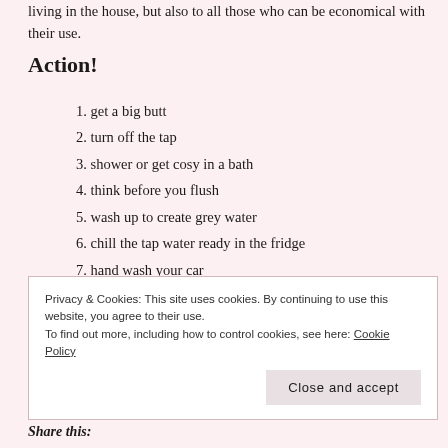living in the house, but also to all those who can be economical with their use.
Action!
1. get a big butt
2. turn off the tap
3. shower or get cosy in a bath
4. think before you flush
5. wash up to create grey water
6. chill the tap water ready in the fridge
7. hand wash your car
Privacy & Cookies: This site uses cookies. By continuing to use this website, you agree to their use. To find out more, including how to control cookies, see here: Cookie Policy
Share this: